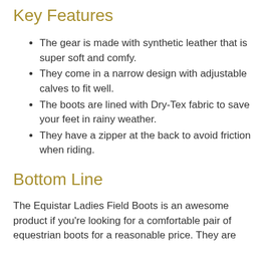Key Features
The gear is made with synthetic leather that is super soft and comfy.
They come in a narrow design with adjustable calves to fit well.
The boots are lined with Dry-Tex fabric to save your feet in rainy weather.
They have a zipper at the back to avoid friction when riding.
Bottom Line
The Equistar Ladies Field Boots is an awesome product if you're looking for a comfortable pair of equestrian boots for a reasonable price. They are